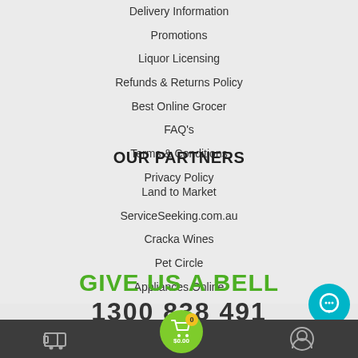Delivery Information
Promotions
Liquor Licensing
Refunds & Returns Policy
Best Online Grocer
FAQ's
Terms & Conditions
Privacy Policy
OUR PARTNERS
Land to Market
ServiceSeeking.com.au
Cracka Wines
Pet Circle
Appliances Online
GIVE US A BELL
1300 838 491
$0.00